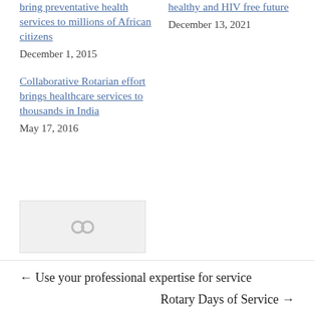bring preventative health services to millions of African citizens
December 1, 2015
Collaborative Rotarian effort brings healthcare services to thousands in India
May 17, 2016
healthy and HIV free future
December 13, 2021
[Figure (illustration): Small image placeholder with a chain link icon]
← Use your professional expertise for service
Rotary Days of Service →